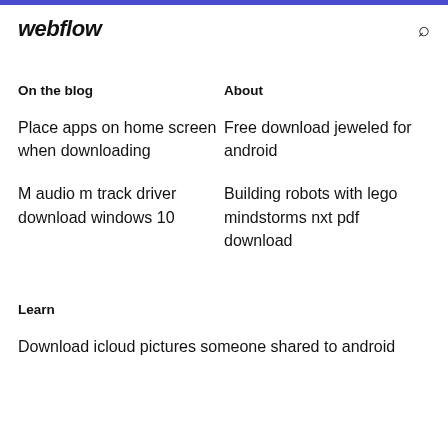webflow
On the blog
Place apps on home screen when downloading
M audio m track driver download windows 10
About
Free download jeweled for android
Building robots with lego mindstorms nxt pdf download
Learn
Download icloud pictures someone shared to android